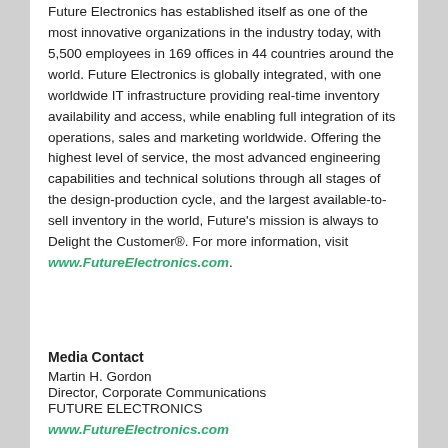Future Electronics has established itself as one of the most innovative organizations in the industry today, with 5,500 employees in 169 offices in 44 countries around the world. Future Electronics is globally integrated, with one worldwide IT infrastructure providing real-time inventory availability and access, while enabling full integration of its operations, sales and marketing worldwide. Offering the highest level of service, the most advanced engineering capabilities and technical solutions through all stages of the design-production cycle, and the largest available-to-sell inventory in the world, Future's mission is always to Delight the Customer®. For more information, visit www.FutureElectronics.com.
Media Contact
Martin H. Gordon
Director, Corporate Communications
FUTURE ELECTRONICS
www.FutureElectronics.com